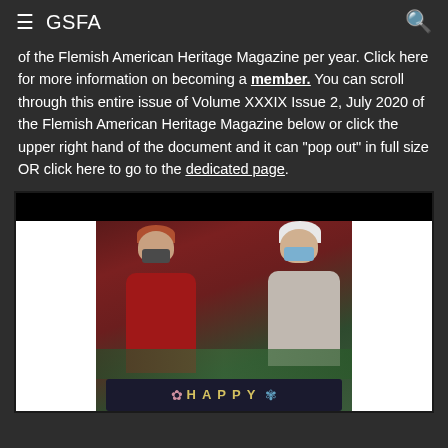≡ GSFA
of the Flemish American Heritage Magazine per year. Click here for more information on becoming a member. You can scroll through this entire issue of Volume XXXIX Issue 2, July 2020 of the Flemish American Heritage Magazine below or click the upper right hand of the document and it can "pop out" in full size OR click here to go to the dedicated page.
[Figure (photo): Two elderly people wearing face masks standing outdoors, holding a dark sign that reads 'HAPPY'. Left person wears a red coat, right person wears a gray coat. Background shows reddish-purple foliage and green shrubs.]